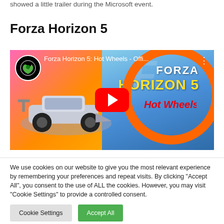showed a little trailer during the Microsoft event.
Forza Horizon 5
[Figure (screenshot): YouTube video thumbnail for 'Forza Horizon 5: Hot Wheels - Offi...' showing a race car on a Hot Wheels track with the Forza Horizon 5 logo, YouTube play button, and Xbox logo.]
We use cookies on our website to give you the most relevant experience by remembering your preferences and repeat visits. By clicking "Accept All", you consent to the use of ALL the cookies. However, you may visit "Cookie Settings" to provide a controlled consent.
Cookie Settings
Accept All